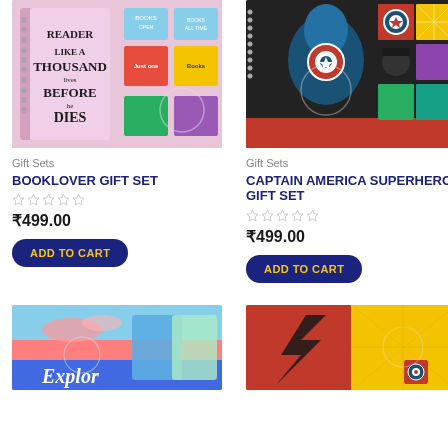[Figure (photo): Booklover gift set product image showing spiral notebooks with book-themed typography and colorful mini notebooks]
[Figure (photo): Captain America Superhero gift set product image with Captain America on black/red background and comic superhero panels]
Gift Sets
BOOKLOVER GIFT SET
☆☆☆☆☆
₹499.00
ADD TO CART
Gift Sets
CAPTAIN AMERICA SUPERHERO GIFT SET
☆☆☆☆☆
₹499.00
ADD TO CART
[Figure (photo): Explore travel-themed gift set product image showing notebooks with sky/travel photography]
[Figure (photo): Flash/superhero themed gift set product image on yellow background with red and black comic design]